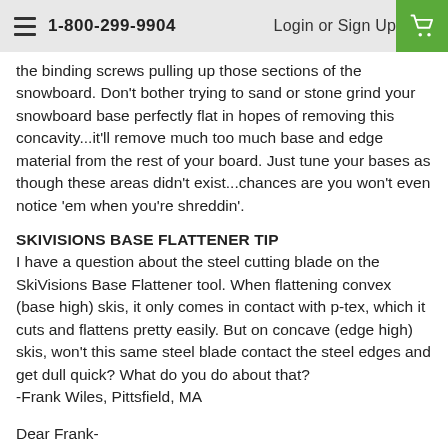1-800-299-9904   Login or Sign Up
the binding screws pulling up those sections of the snowboard. Don't bother trying to sand or stone grind your snowboard base perfectly flat in hopes of removing this concavity...it'll remove much too much base and edge material from the rest of your board. Just tune your bases as though these areas didn't exist...chances are you won't even notice 'em when you're shreddin'.
SKIVISIONS BASE FLATTENER TIP
I have a question about the steel cutting blade on the SkiVisions Base Flattener tool. When flattening convex (base high) skis, it only comes in contact with p-tex, which it cuts and flattens pretty easily. But on concave (edge high) skis, won't this same steel blade contact the steel edges and get dull quick? What do you do about that?
-Frank Wiles, Pittsfield, MA
Dear Frank-
Good question...and timely, too...since skis these days are wider than ever, and often come from the factories a bit concave at the tips and tails. Our advice?
First off, check the bases with a true bar, and note any concave